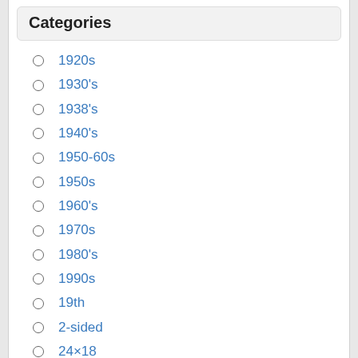Categories
1920s
1930's
1938's
1940's
1950-60s
1950s
1960's
1970s
1980's
1990s
19th
2-sided
24×18
3-feliciano
30x20cm
35cm
60's
7-up